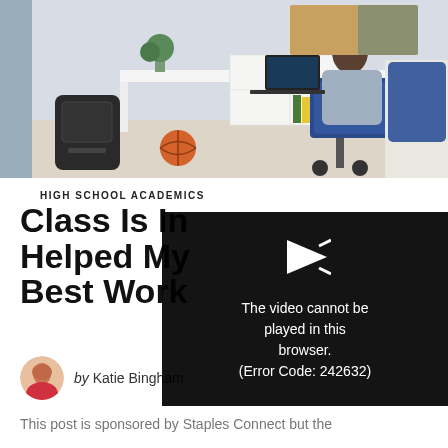[Figure (photo): Student sitting at desk with a laptop in a dorm or bedroom setup, with basketball, backpack, and shelving visible]
HIGH SCHOOL ACADEMICS
Class Is In Session: How It Helped My Kids Do Their Best Work
by Katie Bingham
[Figure (screenshot): Video player error overlay: play icon arrow, text reads 'The video cannot be played in this browser. (Error Code: 242632)']
This post is sponsored by Staples Connect but the